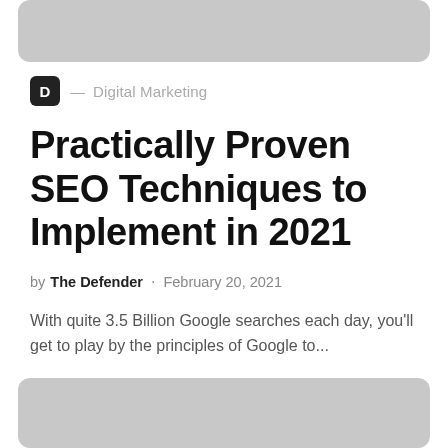[Figure (other): Gray rounded rectangle placeholder image at top]
D — Digital Marketing
Practically Proven SEO Techniques to Implement in 2021
by The Defender · February 20, 2021
With quite 3.5 Billion Google searches each day, you'll get to play by the principles of Google to...
[Figure (other): Gray rounded rectangle placeholder image at bottom]